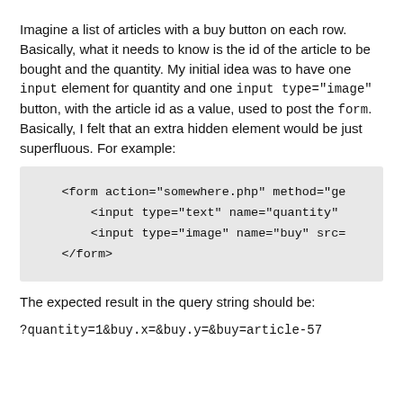Imagine a list of articles with a buy button on each row. Basically, what it needs to know is the id of the article to be bought and the quantity. My initial idea was to have one input element for quantity and one input type="image" button, with the article id as a value, used to post the form. Basically, I felt that an extra hidden element would be just superfluous. For example:
[Figure (screenshot): Code block with light grey background showing HTML form snippet: <form action="somewhere.php" method="ge, <input type="text" name="quantity", <input type="image" name="buy" src=, </form>]
The expected result in the query string should be:
?quantity=1&buy.x=&buy.y=&buy=article-57